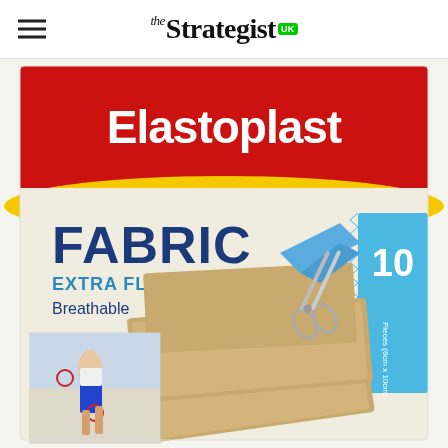the Strategist UK
[Figure (photo): Elastoplast Fabric Extra Flexible Breathable plasters box — 10 pieces (6cm x 10cm). Red and white packaging with yellow wave design, showing fabric plasters and scissors, with an inset image of a runner with bandaged knee and shoulder.]